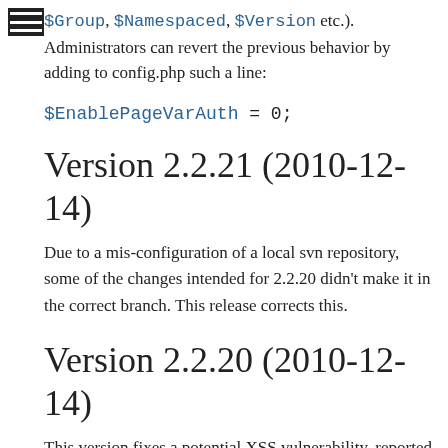$Group, $Namespaced, $Version etc.). Administrators can revert the previous behavior by adding to config.php such a line:
Version 2.2.21 (2010-12-14)
Due to a mis-configuration of a local svn repository, some of the changes intended for 2.2.20 didn't make it in the correct branch. This release corrects this.
Version 2.2.20 (2010-12-14)
This version fixes a potential XSS vulnerability, reported today. An AuthUser bug with excluding users from authgroups was fixed. A new InterMap prefix PmL10n: was added, it leads to the Localization section on PmWiki.org and should help the